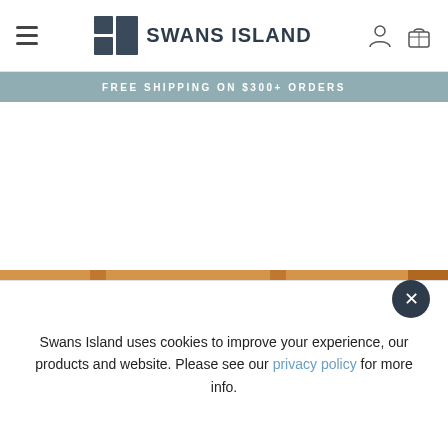[Figure (screenshot): Swans Island brand logo with grid icon and bold uppercase text]
FREE SHIPPING ON $300+ ORDERS
[Figure (photo): Cropped photo of wooden furniture — table and chairs with warm amber/orange wood tones]
Swans Island uses cookies to improve your experience, our products and website. Please see our privacy policy for more info.